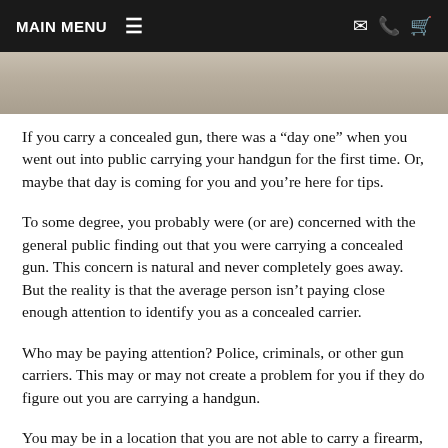MAIN MENU
[Figure (photo): Partial photo strip, appears to show a person, mostly cropped]
If you carry a concealed gun, there was a “day one” when you went out into public carrying your handgun for the first time. Or, maybe that day is coming for you and you’re here for tips.
To some degree, you probably were (or are) concerned with the general public finding out that you were carrying a concealed gun. This concern is natural and never completely goes away. But the reality is that the average person isn’t paying close enough attention to identify you as a concealed carrier.
Who may be paying attention? Police, criminals, or other gun carriers. This may or may not create a problem for you if they do figure out you are carrying a handgun.
You may be in a location that you are not able to carry a firearm, or open carry may be illegal. Accidentally exposing